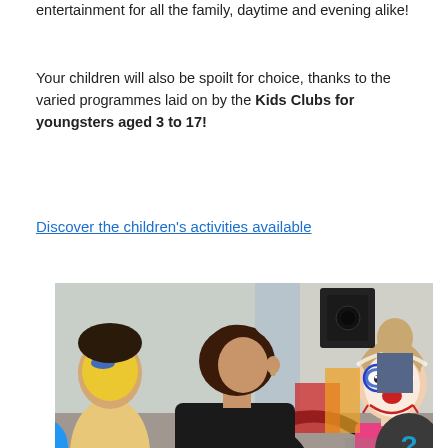you like, with inclusive supervised sports, wellness breaks and entertainment for all the family, daytime and evening alike!
Your children will also be spoilt for choice, thanks to the varied programmes laid on by the Kids Clubs for youngsters aged 3 to 17!
Discover the children's activities available
[Figure (photo): A woman face-painting a young girl dressed as a clown, with other children visible in the background at what appears to be a kids club or party event. Two UI badges are overlaid: a blue circle with a checkmark/audio icon at bottom-left, and a dark teardrop shape with a question mark at bottom-right.]